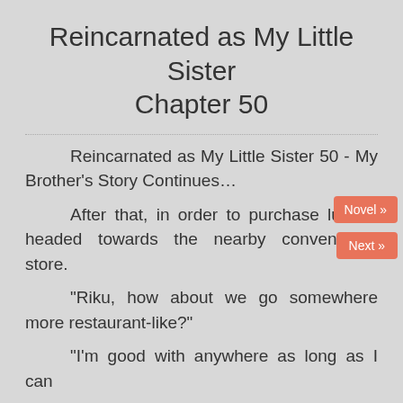Reincarnated as My Little Sister
Chapter 50
Reincarnated as My Little Sister 50 - My Brother's Story Continues…
After that, in order to purchase lunch, headed towards the nearby convenience store.
"Riku, how about we go somewhere more restaurant-like?"
"I'm good with anywhere as long as I can